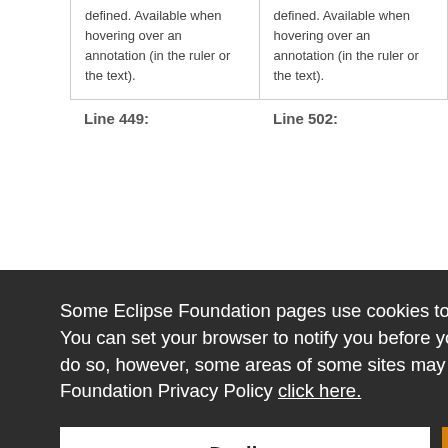| defined. Available when hovering over an annotation (in the ruler or the text). | defined. Available when hovering over an annotation (in the ruler or the text). |
Line 449:	Line 502:
Some Eclipse Foundation pages use cookies to better serve you when you return to the site. You can set your browser to notify you before you receive a cookie or turn off cookies. If you do so, however, some areas of some sites may not function properly. To read Eclipse Foundation Privacy Policy click here.
Decline
Allow cookies
fields defined: